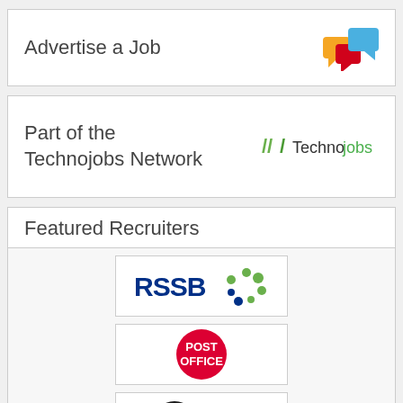Advertise a Job
[Figure (logo): Colorful chat bubble icons in yellow, red, and blue]
Part of the Technojobs Network
[Figure (logo): Technojobs logo with triple-slash marks in green and the word Technojobs in dark/green text]
Featured Recruiters
[Figure (logo): RSSB logo with blue bold text and green dotted circular design]
[Figure (logo): Post Office logo — red circle with white bold text POST OFFICE]
[Figure (logo): NAO logo — partially visible, black circle with white text NAO and a crest]